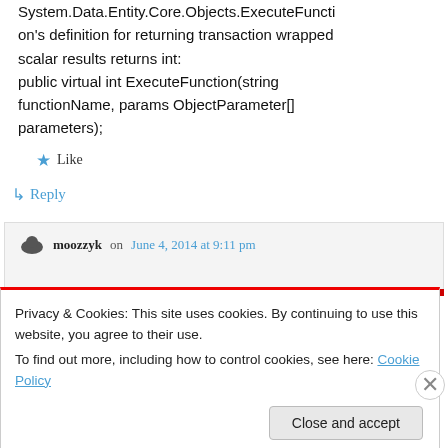System.Data.Entity.Core.Objects.ExecuteFunction's definition for returning transaction wrapped scalar results returns int: public virtual int ExecuteFunction(string functionName, params ObjectParameter[] parameters);
★ Like
↳ Reply
moozzyk on June 4, 2014 at 9:11 pm
Privacy & Cookies: This site uses cookies. By continuing to use this website, you agree to their use.
To find out more, including how to control cookies, see here: Cookie Policy
Close and accept